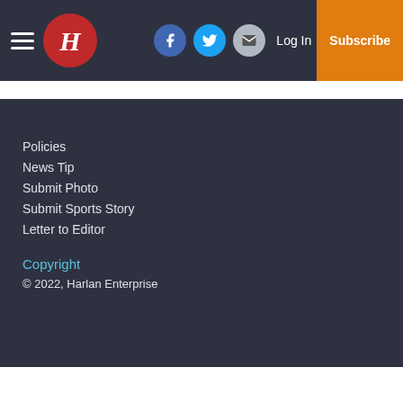Harlan Enterprise navigation bar with hamburger menu, H logo, Facebook, Twitter, Email icons, Log In, Subscribe
Policies
News Tip
Submit Photo
Submit Sports Story
Letter to Editor
Copyright
© 2022, Harlan Enterprise